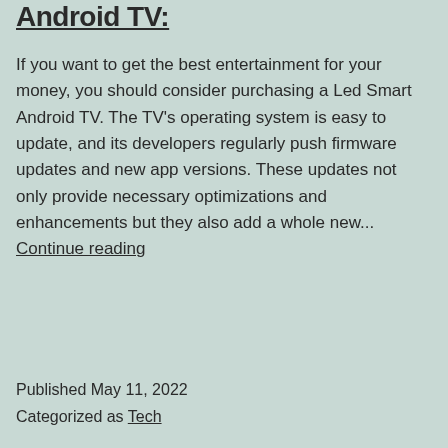Android TV:
If you want to get the best entertainment for your money, you should consider purchasing a Led Smart Android TV. The TV's operating system is easy to update, and its developers regularly push firmware updates and new app versions. These updates not only provide necessary optimizations and enhancements but they also add a whole new... Continue reading
Published May 11, 2022
Categorized as Tech